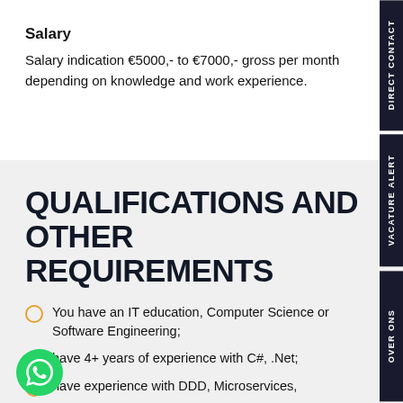Salary
Salary indication €5000,- to €7000,- gross per month depending on knowledge and work experience.
QUALIFICATIONS AND OTHER REQUIREMENTS
You have an IT education, Computer Science or Software Engineering;
have 4+ years of experience with C#, .Net;
have experience with DDD, Microservices,